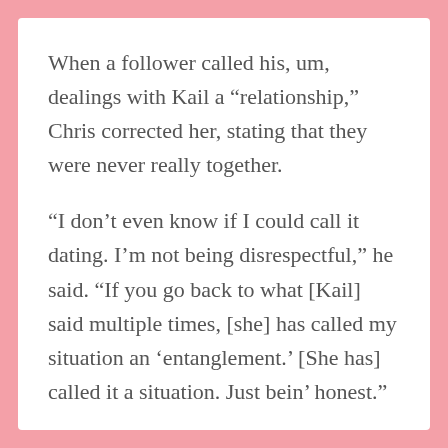When a follower called his, um, dealings with Kail a “relationship,” Chris corrected her, stating that they were never really together.
“I don’t even know if I could call it dating. I’m not being disrespectful,” he said. “If you go back to what [Kail] said multiple times, [she] has called my situation an ‘entanglement.’ [She has] called it a situation. Just bein’ honest.”